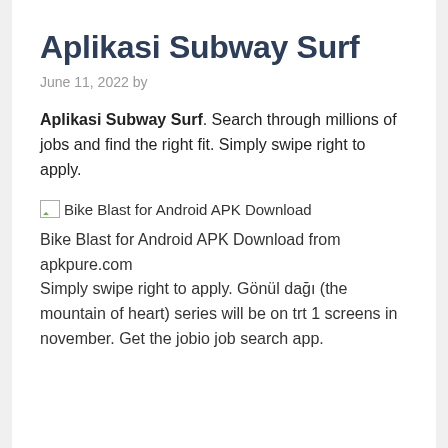Aplikasi Subway Surf
June 11, 2022 by
Aplikasi Subway Surf. Search through millions of jobs and find the right fit. Simply swipe right to apply.
[Figure (photo): Bike Blast for Android APK Download image placeholder with broken image icon]
Bike Blast for Android APK Download from apkpure.com
Simply swipe right to apply. Gönül dağı (the mountain of heart) series will be on trt 1 screens in november. Get the jobio job search app.